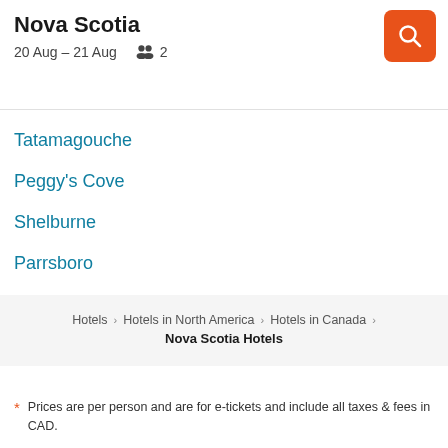Nova Scotia
20 Aug – 21 Aug   👥 2
Tatamagouche
Peggy's Cove
Shelburne
Parrsboro
Hotels > Hotels in North America > Hotels in Canada > Nova Scotia Hotels
* Prices are per person and are for e-tickets and include all taxes & fees in CAD.